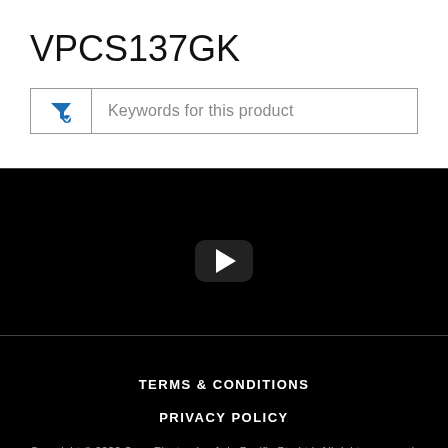VPCS137GK
[Figure (screenshot): Search filter box with funnel icon and placeholder text 'Keywords for this product']
[Figure (screenshot): Black video player area with YouTube-style play button in center]
TERMS & CONDITIONS
PRIVACY POLICY
Copyright © 2022 Sony Electronics Asia Pacific Pte Ltd. All rights reserved.
► Sony Group Portal Site